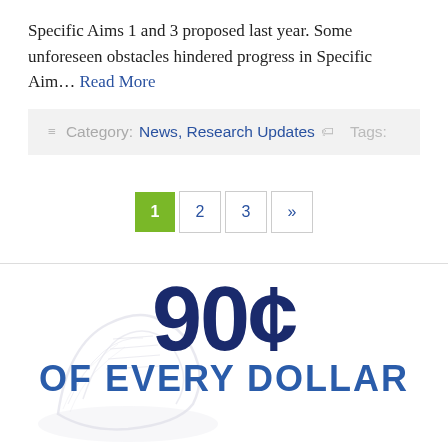Specific Aims 1 and 3 proposed last year. Some unforeseen obstacles hindered progress in Specific Aim… Read More
Category: News, Research Updates   Tags:
1 2 3 »
[Figure (infographic): Infographic showing '90¢ OF EVERY DOLLAR' with a shoe/sneaker watermark in the background]